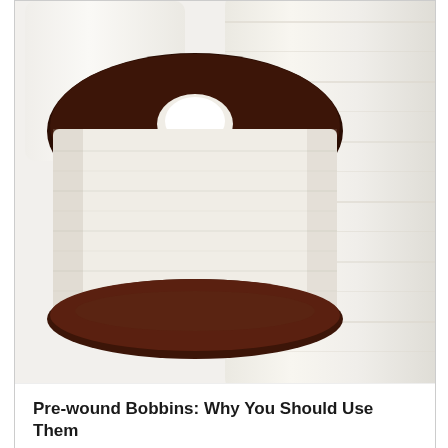[Figure (photo): Photo of pre-wound bobbins: a dark brown/chocolate colored bobbin with white thread in the foreground, and white thread spools in the background, on a white surface.]
Pre-wound Bobbins: Why You Should Use Them
[Figure (photo): A mostly blank/white-gray image area, appears to be a loading or blank card placeholder.]